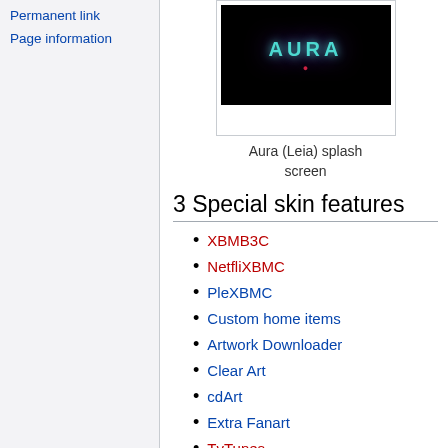Permanent link
Page information
[Figure (screenshot): Aura (Leia) splash screen showing the word AURA in teal glowing text on a dark background]
Aura (Leia) splash screen
3 Special skin features
XBMB3C
NetfliXBMC
PleXBMC
Custom home items
Artwork Downloader
Clear Art
cdArt
Extra Fanart
TvTunes
Skin Widgets